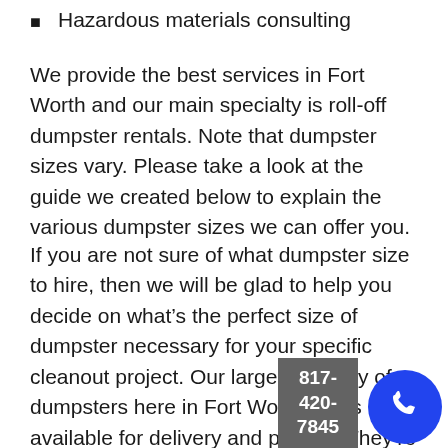Hazardous materials consulting
We provide the best services in Fort Worth and our main specialty is roll-off dumpster rentals. Note that dumpster sizes vary. Please take a look at the guide we created below to explain the various dumpster sizes we can offer you.
If you are not sure of what dumpster size to hire, then we will be glad to help you decide on what’s the perfect size of dumpster necessary for your specific cleanout project. Our large inventory of dumpsters here in Fort Worth, TX is available for delivery and pick up. They’re not only for Fort Worth residents, but we also supply the neighboring Texan communities as well. Just give us a call at 817-420-7845 to get a free dumpster rental quote today.